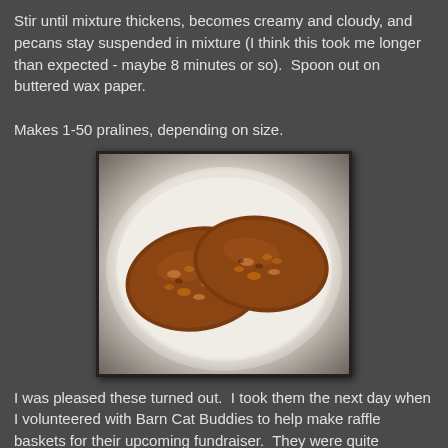Stir until mixture thickens, becomes creamy and cloudy, and pecans stay suspended in mixture (I think this took me longer than expected - maybe 8 minutes or so).  Spoon out on buttered wax paper.

Makes 1-50 pralines, depending on size.
[Figure (photo): Two pecan pralines on a white plate, photographed from above. The pralines are brown and glossy with visible pecan pieces embedded in them.]
I was pleased these turned out.  I took them the next day when I volunteered with Barn Cat Buddies to help make raffle baskets for their upcoming fundraiser.  They were quite